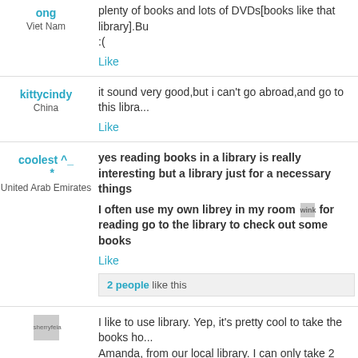ong
Viet Nam
plenty of books and lots of DVDs[books like that library].Bu
:(
Like
kittycindy
China
it sound very good,but i can't go abroad,and go to this libra...
Like
coolest ^_
*
United Arab Emirates
yes reading books in a library is really interesting but a library just for a necessary things

I often use my own librey in my room [wink] for reading go to the library to check out some books
Like
2 people like this
sherryfeia
I like to use library. Yep, it's pretty cool to take the books ho... Amanda, from our local library. I can only take 2 books fo...